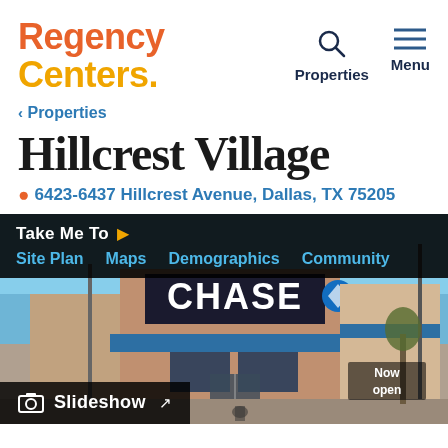Regency Centers. | Properties | Menu
< Properties
Hillcrest Village
6423-6437 Hillcrest Avenue, Dallas, TX 75205
[Figure (photo): Exterior photo of Hillcrest Village shopping center showing a Chase Bank branch with brick facade, blue canopy, and clear blue sky. A 'Now Open' sign visible in bottom right corner.]
Slideshow